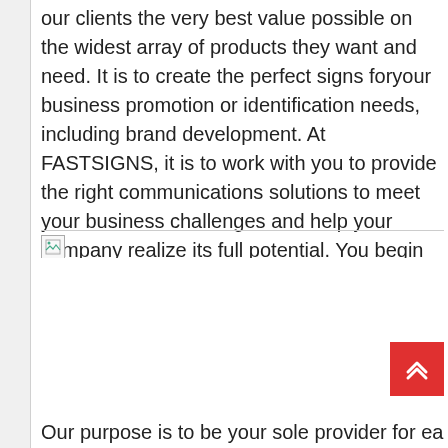our clients the very best value possible on the widest array of products they want and need. It is to create the perfect signs foryour business promotion or identification needs, including brand development. At FASTSIGNS, it is to work with you to provide the right communications solutions to meet your business challenges and help your company realize its full potential. You begin with the most important goal or purpose that you're trying to achieve by holding the meeting.
[Figure (other): Broken/missing image placeholder icon]
Our purpose is to be your sole provider for each of your